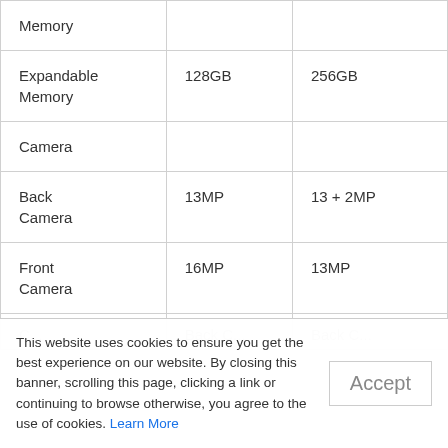| Feature | Option 1 | Option 2 |
| --- | --- | --- |
| Memory |  |  |
| Expandable Memory | 128GB | 256GB |
| Camera |  |  |
| Back Camera | 13MP | 13 + 2MP |
| Front Camera | 16MP | 13MP |
| ... | Back C... | Back C... |
This website uses cookies to ensure you get the best experience on our website. By closing this banner, scrolling this page, clicking a link or continuing to browse otherwise, you agree to the use of cookies. Learn More